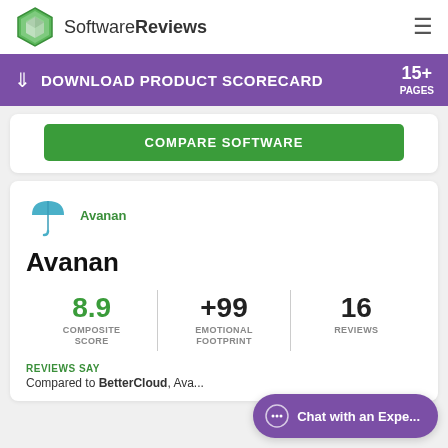SoftwareReviews
DOWNLOAD PRODUCT SCORECARD 15+ PAGES
COMPARE SOFTWARE
[Figure (logo): Avanan umbrella logo icon in teal/blue]
Avanan
| COMPOSITE SCORE | EMOTIONAL FOOTPRINT | REVIEWS |
| --- | --- | --- |
| 8.9 | +99 | 16 |
REVIEWS SAY
Compared to BetterCloud, Ava...
Chat with an Expe...